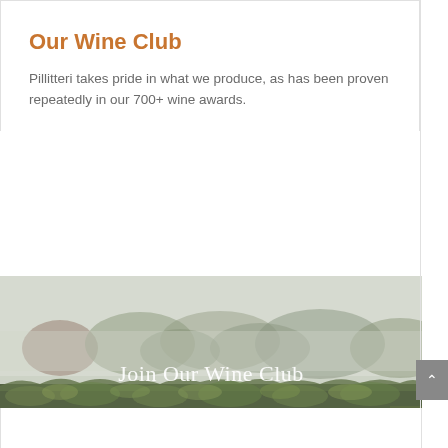Our Wine Club
Pillitteri takes pride in what we produce, as has been proven repeatedly in our 700+ wine awards.
[Figure (photo): Vineyard landscape on a misty day with dense green hedgerows in the foreground and trees in the foggy background. White text overlay reads 'Join Our Wine Club'.]